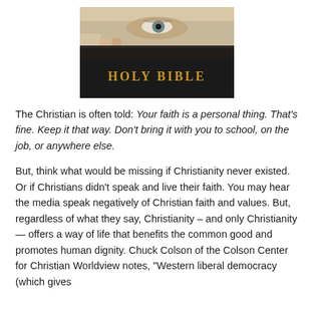[Figure (photo): A person holding a Holy Bible up to their face, with one eye visible above the book. The book cover shows 'HOLY BIBLE' in gold lettering.]
The Christian is often told: Your faith is a personal thing. That’s fine. Keep it that way. Don’t bring it with you to school, on the job, or anywhere else.
But, think what would be missing if Christianity never existed. Or if Christians didn't speak and live their faith. You may hear the media speak negatively of Christian faith and values. But, regardless of what they say, Christianity – and only Christianity — offers a way of life that benefits the common good and promotes human dignity. Chuck Colson of the Colson Center for Christian Worldview notes, “Western liberal democracy (which gives